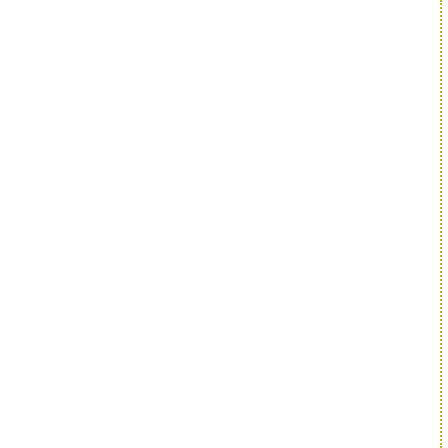facility in Melbourne. However, the demand for without substantial investment the Roundup® fa and pesticides.
The warehousing and distribution company use transport of industrial bulk hazardous goods. La Monsanto Australia N&CP joined Ag at their cor small cartons, filling small orders and delivering Lawn & Garden was not the core business for A meet the customer service levels required by th
The season began with a whimper, primarily fro short supply as Mastra, our toll manufacturer of new and urgent products. The overseas supplie its entire logistics and export staff. Ten containe seems that nobody remained that understood th required. . Adding insult to injury, the newly app the product catalogue and the quantities were w arrived.
Customer complaints began. Wrong product, da favorite example given by survivors of 1997 wa head office. Admittedly, the delivery was on time
Monsanto Australia Lawn & Garden circa 1998
Something had to change. But what? We had to urgency from supplier to customer - we had to h undamaged to the right location. We:
First examined where our stock was bei